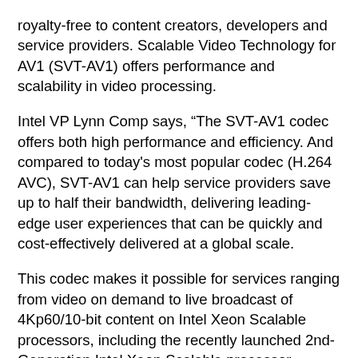royalty-free to content creators, developers and service providers. Scalable Video Technology for AV1 (SVT-AV1) offers performance and scalability in video processing.
Intel VP Lynn Comp says, “The SVT-AV1 codec offers both high performance and efficiency. And compared to today's most popular codec (H.264 AVC), SVT-AV1 can help service providers save up to half their bandwidth, delivering leading-edge user experiences that can be quickly and cost-effectively delivered at a global scale.
This codec makes it possible for services ranging from video on demand to live broadcast of 4Kp60/10-bit content on Intel Xeon Scalable processors, including the recently launched 2nd-Generation Intel Xeon Scalable processor.
Modernisation of video software codecs for increased efficiency will help deliver rich user experiences and